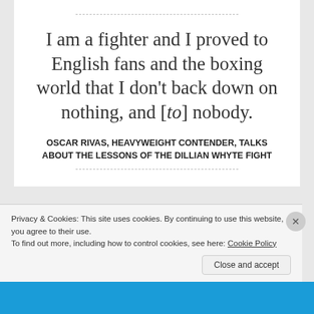I am a fighter and I proved to English fans and the boxing world that I don't back down on nothing, and [to] nobody.
OSCAR RIVAS, HEAVYWEIGHT CONTENDER, TALKS ABOUT THE LESSONS OF THE DILLIAN WHYTE FIGHT
Privacy & Cookies: This site uses cookies. By continuing to use this website, you agree to their use.
To find out more, including how to control cookies, see here: Cookie Policy